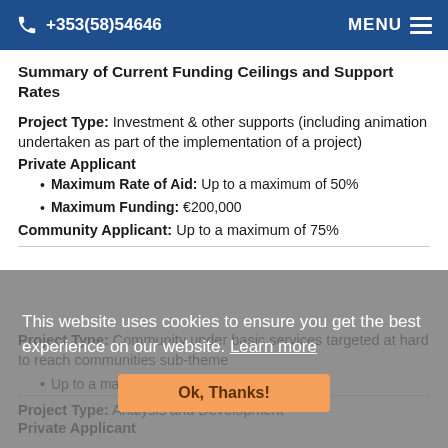+353(58)54646  MENU
Summary of Current Funding Ceilings and Support Rates
Project Type: Investment & other supports (including animation undertaken as part of the implementation of a project)
Private Applicant
Maximum Rate of Aid: Up to a maximum of 50%
Maximum Funding: €200,000
Community Applicant: Up to a maximum of 75%
Project Type: Community under basic services targeted at hard to reach communities sub-theme
Up to a maximum of 90%
Project Type: Analysis and Development
Private Applicant